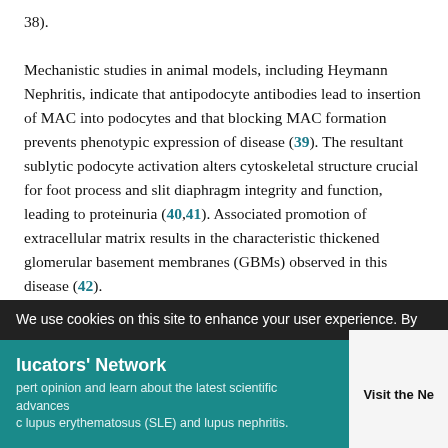38). Mechanistic studies in animal models, including Heymann Nephritis, indicate that antipodocyte antibodies lead to insertion of MAC into podocytes and that blocking MAC formation prevents phenotypic expression of disease (39). The resultant sublytic podocyte activation alters cytoskeletal structure crucial for foot process and slit diaphragm integrity and function, leading to proteinuria (40,41). Associated promotion of extracellular matrix results in the characteristic thickened glomerular basement membranes (GBMs) observed in this disease (42). Although one report in abstract form (G. Appel et al., unpublished data) suggested that anti-C5 mAb had no effect on proteinuria in
We use cookies on this site to enhance your user experience. By
lucators' Network — expert opinion and learn about the latest scientific advances in lupus erythematosus (SLE) and lupus nephritis.